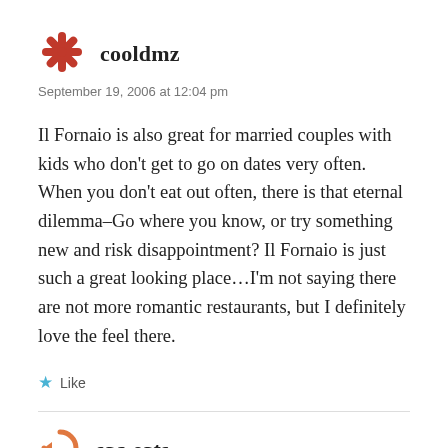cooldmz
September 19, 2006 at 12:04 pm
Il Fornaio is also great for married couples with kids who don't get to go on dates very often. When you don't eat out often, there is that eternal dilemma–Go where you know, or try something new and risk disappointment? Il Fornaio is just such a great looking place...I'm not saying there are not more romantic restaurants, but I definitely love the feel there.
Like
sac-eats